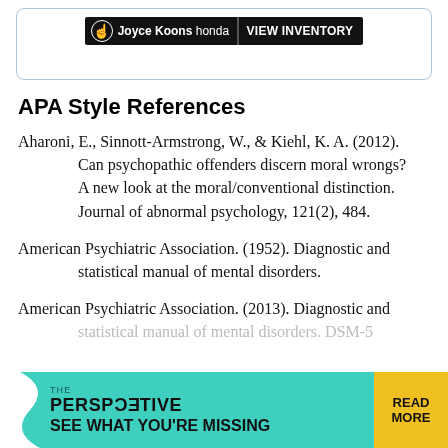[Figure (other): Joyce Koons Honda advertisement banner with VIEW INVENTORY button inside a rounded border box]
APA Style References
Aharoni, E., Sinnott-Armstrong, W., & Kiehl, K. A. (2012). Can psychopathic offenders discern moral wrongs? A new look at the moral/conventional distinction. Journal of abnormal psychology, 121(2), 484.
American Psychiatric Association. (1952). Diagnostic and statistical manual of mental disorders.
American Psychiatric Association. (2013). Diagnostic and statistical manual of mental disorders. DSM-5
[Figure (other): The Perspective advertisement banner: SEE WHAT YOU'RE MISSING with READ MORE button in yellow]